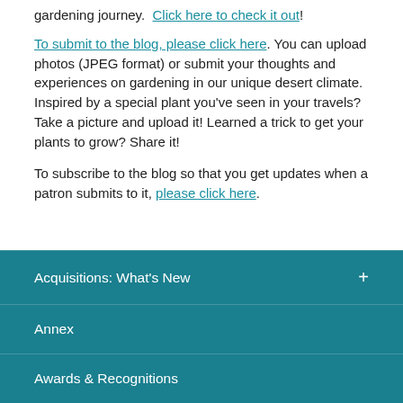gardening journey.  Click here to check it out!
To submit to the blog, please click here. You can upload photos (JPEG format) or submit your thoughts and experiences on gardening in our unique desert climate. Inspired by a special plant you've seen in your travels? Take a picture and upload it! Learned a trick to get your plants to grow? Share it!
To subscribe to the blog so that you get updates when a patron submits to it, please click here.
Acquisitions: What's New
Annex
Awards & Recognitions